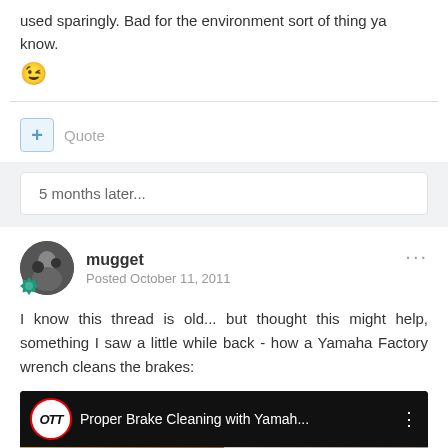used sparingly. Bad for the environment sort of thing ya know. 😉
+ Quote
5 months later...
mugget
Posted October 11, 2011
I know this thread is old... but thought this might help, something I saw a little while back - how a Yamaha Factory wrench cleans the brakes:
[Figure (screenshot): YouTube video thumbnail showing 'Proper Brake Cleaning with Yamah...' with OTT logo and two people visible]